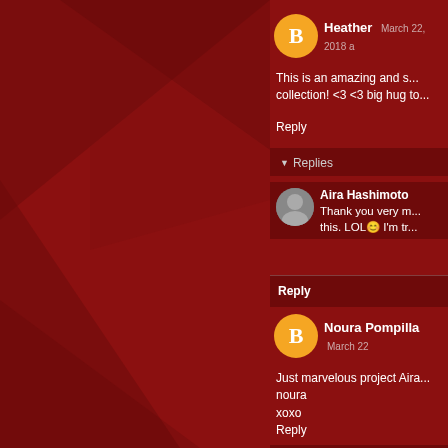[Figure (illustration): Dark red background with geometric triangle decorations on the left side, forming a blog comment section UI]
Heather  March 22, 2018
This is an amazing and s... collection! <3 <3 big hug to...
Reply
Replies
Aira Hashimoto
Thank you very m... this. LOL😊 I'm tr...
Reply
Noura Pompilla  March 22
Just marvelous project Aira... noura
xoxo
Reply
Replies
Aira Hashimo...